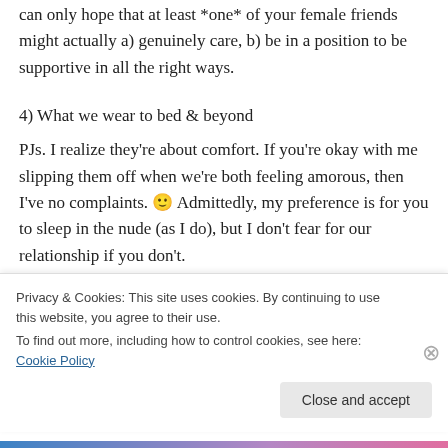can only hope that at least *one* of your female friends might actually a) genuinely care, b) be in a position to be supportive in all the right ways.
4) What we wear to bed & beyond
PJs. I realize they're about comfort. If you're okay with me slipping them off when we're both feeling amorous, then I've no complaints. 🙂 Admittedly, my preference is for you to sleep in the nude (as I do), but I don't fear for our relationship if you don't.
Privacy & Cookies: This site uses cookies. By continuing to use this website, you agree to their use.
To find out more, including how to control cookies, see here: Cookie Policy